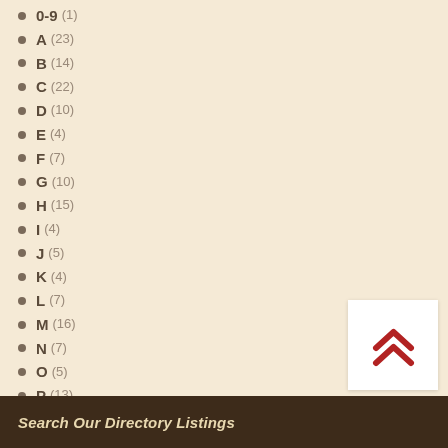0-9 (1)
A (23)
B (14)
C (22)
D (10)
E (4)
F (7)
G (10)
H (15)
I (4)
J (5)
K (4)
L (7)
M (16)
N (7)
O (5)
P (13)
R (11)
S (12)
T (28)
U (1)
V (3)
W (6)
X (1)
Y (2)
Search Our Directory Listings